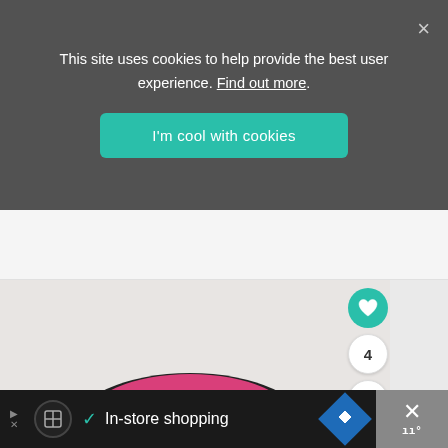This site uses cookies to help provide the best user experience. Find out more.
I'm cool with cookies
[Figure (photo): A black bowl containing bright pink hummus or beet dip topped with seeds and herbs, photographed from above on a light background.]
In-store shopping
✕